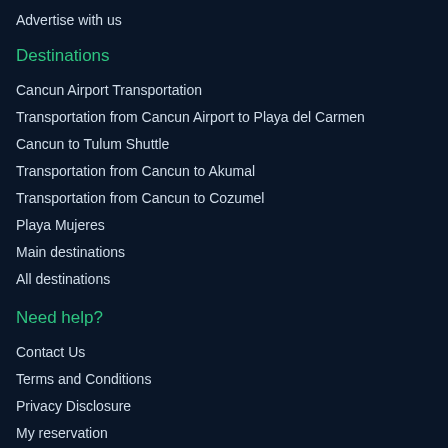Advertise with us
Destinations
Cancun Airport Transportation
Transportation from Cancun Airport to Playa del Carmen
Cancun to Tulum Shuttle
Transportation from Cancun to Akumal
Transportation from Cancun to Cozumel
Playa Mujeres
Main destinations
All destinations
Need help?
Contact Us
Terms and Conditions
Privacy Disclosure
My reservation